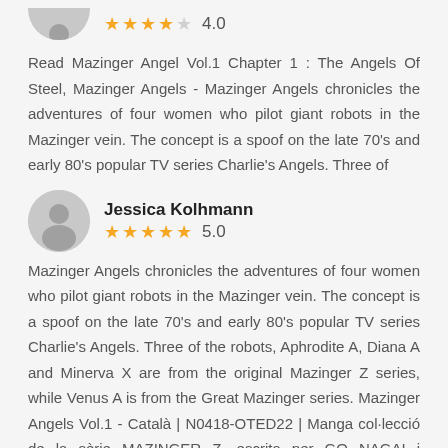[Figure (illustration): Partial avatar icon (gray circle with person silhouette) at top left, partially cropped, with 4-star rating (4 orange stars, 1 empty) and score 4.0 shown beside it]
Read Mazinger Angel Vol.1 Chapter 1 : The Angels Of Steel, Mazinger Angels - Mazinger Angels chronicles the adventures of four women who pilot giant robots in the Mazinger vein. The concept is a spoof on the late 70's and early 80's popular TV series Charlie's Angels. Three of
[Figure (illustration): Gray circular avatar with person silhouette for reviewer Jessica Kolhmann]
Jessica Kolhmann
5.0
Mazinger Angels chronicles the adventures of four women who pilot giant robots in the Mazinger vein. The concept is a spoof on the late 70's and early 80's popular TV series Charlie's Angels. Three of the robots, Aphrodite A, Diana A and Minerva X are from the original Mazinger Z series, while Venus A is from the Great Mazinger series. Mazinger Angels Vol.1 - Català | N0418-OTED22 | Manga col·lecció de la sèrie MAZINGER Z, escrita per GO NAGAI i dibuixada per